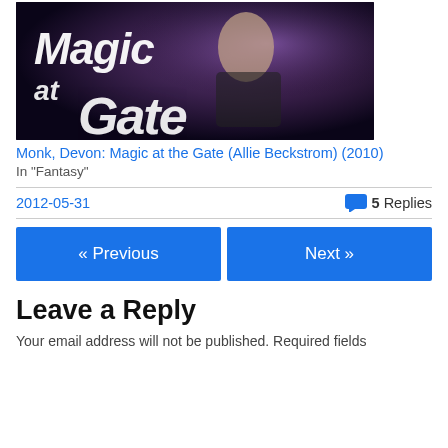[Figure (illustration): Book cover for 'Magic at Gate' showing a woman with tattoos holding a weapon, purple/dark fantasy background with stylized title text]
Monk, Devon: Magic at the Gate (Allie Beckstrom) (2010)
In "Fantasy"
2012-05-31
5 Replies
« Previous
Next »
Leave a Reply
Your email address will not be published. Required fields